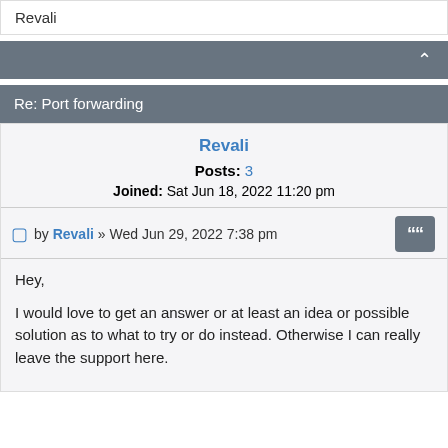Revali
Re: Port forwarding
Revali
Posts: 3
Joined: Sat Jun 18, 2022 11:20 pm
by Revali » Wed Jun 29, 2022 7:38 pm
Hey,

I would love to get an answer or at least an idea or possible solution as to what to try or do instead. Otherwise I can really leave the support here.